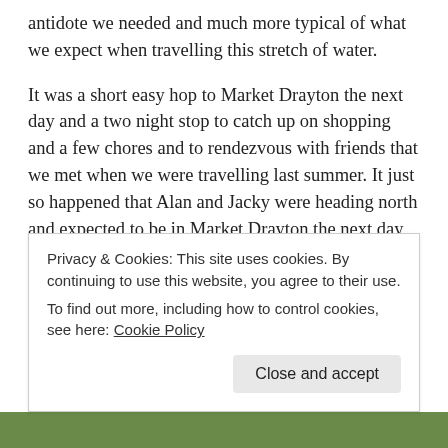antidote we needed and much more typical of what we expect when travelling this stretch of water.
It was a short easy hop to Market Drayton the next day and a two night stop to catch up on shopping and a few chores and to rendezvous with friends that we met when we were travelling last summer. It just so happened that Alan and Jacky were heading north and expected to be in Market Drayton the next day so the six of us arranged to meet up and have a catch up over dinner in the Red Lion. Good food and beer shared with great company is an evening well spent in my book and another cherished memory to deposit in the bank. Like all members of a similar tribe we love swapping stories and the more outrageous
Privacy & Cookies: This site uses cookies. By continuing to use this website, you agree to their use.
To find out more, including how to control cookies, see here: Cookie Policy
[Figure (photo): A strip of green trees/foliage visible at the bottom of the page]